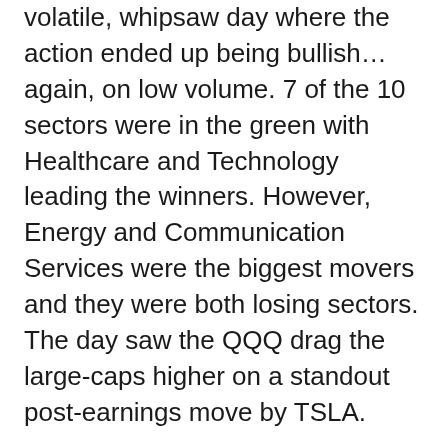volatile, whipsaw day where the action ended up being bullish…again, on low volume.  7 of the 10 sectors were in the green with Healthcare and Technology leading the winners.  However, Energy and Communication Services were the biggest movers and they were both losing sectors.  The day saw the QQQ drag the large-caps higher on a standout post-earnings move by TSLA.
This all left us with white-bodied candles with longer lower wicks.  So, at this point, all three major indices are above their 50sma and sit a bit extended from their T-line (8ema) as well as in terms of their 4-week Now